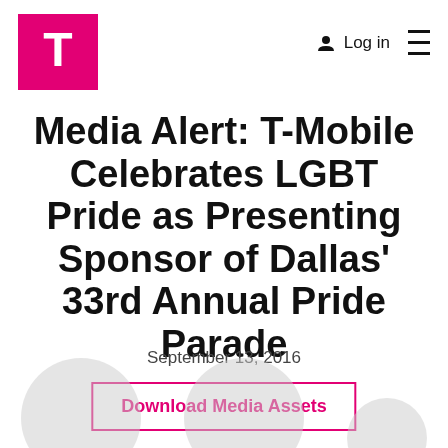T-Mobile logo | Log in | menu
Media Alert: T-Mobile Celebrates LGBT Pride as Presenting Sponsor of Dallas' 33rd Annual Pride Parade
September 13, 2016
Download Media Assets